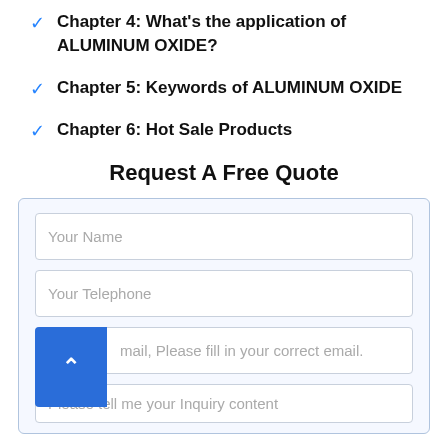Chapter 4: What's the application of ALUMINUM OXIDE?
Chapter 5: Keywords of ALUMINUM OXIDE
Chapter 6: Hot Sale Products
Request A Free Quote
Your Name
Your Telephone
mail, Please fill in your correct email.
Please tell me your Inquiry content